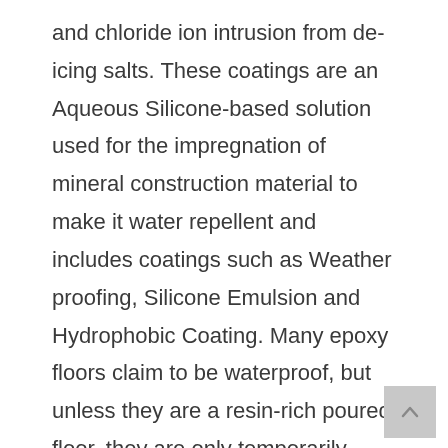and chloride ion intrusion from de-icing salts. These coatings are an Aqueous Silicone-based solution used for the impregnation of mineral construction material to make it water repellent and includes coatings such as Weather proofing, Silicone Emulsion and Hydrophobic Coating. Many epoxy floors claim to be waterproof, but unless they are a resin-rich poured floor, they are only temporarily waterproofed. The amount of aggregate needed for most quartz epoxy flooring leads to voids, which allow liquids to penetrate. They rely on a thin top coat of sealant to keep the water